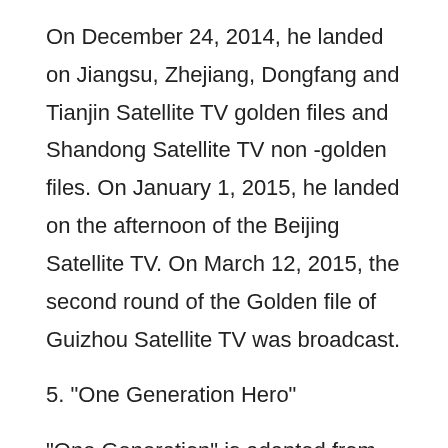On December 24, 2014, he landed on Jiangsu, Zhejiang, Dongfang and Tianjin Satellite TV golden files and Shandong Satellite TV non -golden files. On January 1, 2015, he landed on the afternoon of the Beijing Satellite TV. On March 12, 2015, the second round of the Golden file of Guizhou Satellite TV was broadcast.
5. "One Generation Hero"
"One Generation" is adapted from Shaanxi writer Ye Guangling's novel "Aoyagawa". It is jointly produced by Shanghai New Culture Media Group Co., Ltd., Shanghai Huantianxi Film Communication Co., Ltd., Beijing Xinbaoyuan Film and Television Investment Co., Ltd.